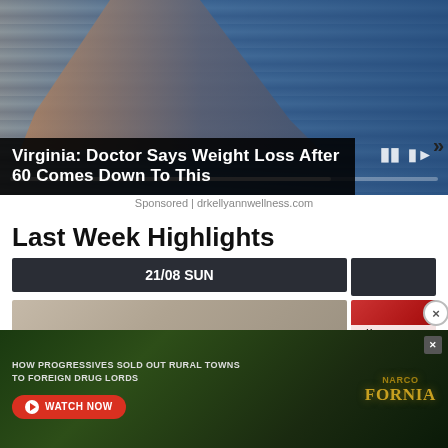[Figure (screenshot): Advertisement banner showing a woman in a bikini sitting near water, with video playback controls and a progress bar overlay. Dark title bar at bottom reads 'Virginia: Doctor Says Weight Loss After 60 Comes Down To This']
Sponsored | drkellyannwellness.com
Last Week Highlights
21/08 SUN
[Figure (screenshot): Thumbnail images for Last Week Highlights section - left showing a grayscale person, right showing a US flag/political image]
[Figure (screenshot): Bottom advertisement overlay for Narcofornia documentary: 'HOW PROGRESSIVES SOLD OUT RURAL TOWNS TO FOREIGN DRUG LORDS' with WATCH NOW button and Narcofornia branding]
en Hous Republicans